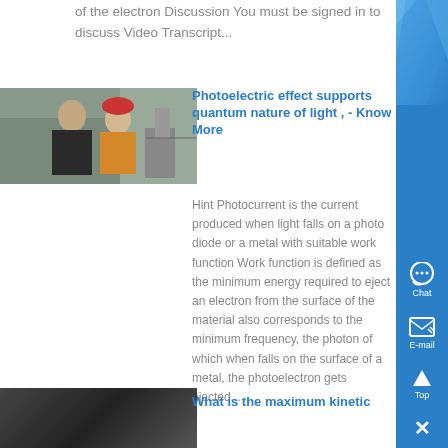of the electron Discussion You must be signed in to discuss Video Transcript...
[Figure (photo): Two workers, one wearing a red hard hat and yellow safety vest, in an industrial setting]
Photoelectric effect supports quantum nature of light , - Know More
Hint Photocurrent is the current produced when light falls on a photo diode or a metal with suitable work function Work function is defined as the minimum energy required to eject an electron from the surface of the material also corresponds to the minimum frequency, the photon of which when falls on the surface of a metal, the photoelectron gets ejected...
[Figure (photo): Industrial equipment in dark setting]
What is the maximum kinetic